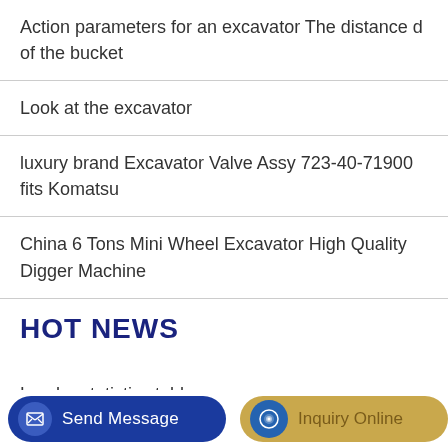Action parameters for an excavator The distance d of the bucket
Look at the excavator
luxury brand Excavator Valve Assy 723-40-71900 fits Komatsu
China 6 Tons Mini Wheel Excavator High Quality Digger Machine
HOT NEWS
Loader statistics table
Automatic Excavator Solenoid Valve Engine Oil Drain